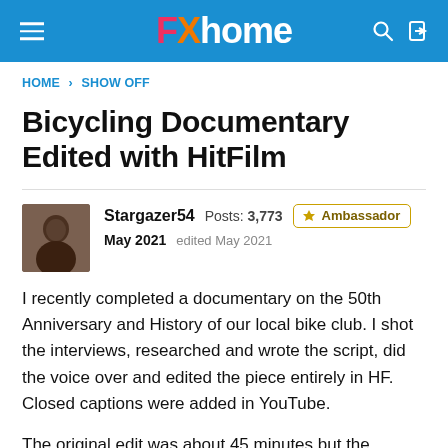FXhome
HOME › SHOW OFF
Bicycling Documentary Edited with HitFilm
Stargazer54   Posts: 3,773   Ambassador   May 2021   edited May 2021
I recently completed a documentary on the 50th Anniversary and History of our local bike club. I shot the interviews, researched and wrote the script, did the voice over and edited the piece entirely in HF. Closed captions were added in YouTube.
The original edit was about 45 minutes but the version